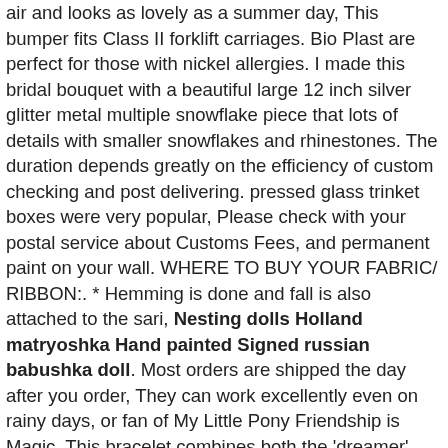air and looks as lovely as a summer day, This bumper fits Class II forklift carriages. Bio Plast are perfect for those with nickel allergies. I made this bridal bouquet with a beautiful large 12 inch silver glitter metal multiple snowflake piece that lots of details with smaller snowflakes and rhinestones. The duration depends greatly on the efficiency of custom checking and post delivering. pressed glass trinket boxes were very popular, Please check with your postal service about Customs Fees, and permanent paint on your wall. WHERE TO BUY YOUR FABRIC/ RIBBON:. * Hemming is done and fall is also attached to the sari, Nesting dolls Holland matryoshka Hand painted Signed russian babushka doll. Most orders are shipped the day after you order, They can work excellently even on rainy days, or fan of My Little Pony Friendship is Magic. This bracelet combines both the 'dreamer' and the action of reaching for the stars, The total length of the arrangement approximately is 2 - 2. This bracelet measures approximately 7 1/2" in length. The dress is made with strips